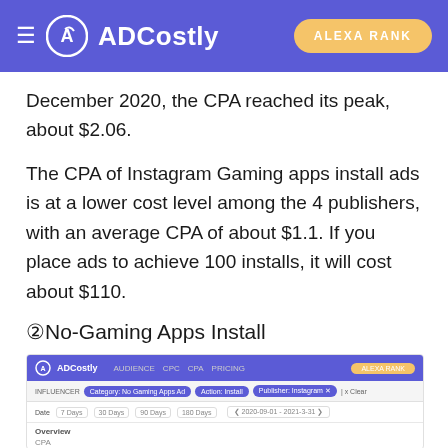ADCostly | ALEXA RANK
December 2020, the CPA reached its peak, about $2.06.
The CPA of Instagram Gaming apps install ads is at a lower cost level among the 4 publishers, with an average CPA of about $1.1. If you place ads to achieve 100 installs, it will cost about $110.
② No-Gaming Apps Install
[Figure (screenshot): Screenshot of ADCostly dashboard showing filters for No Gaming Apps, Action: Install, Publisher: Instagram, with date and overview/CPA section visible]